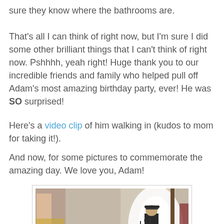sure they know where the bathrooms are.
That's all I can think of right now, but I'm sure I did some other brilliant things that I can't think of right now. Pshhhh, yeah right! Huge thank you to our incredible friends and family who helped pull off Adam's most amazing birthday party, ever! He was SO surprised!
Here's a video clip of him walking in (kudos to mom for taking it!).
And now, for some pictures to commemorate the amazing day. We love you, Adam!
[Figure (photo): A person walking through a doorway into a room, holding camera equipment, with bright light behind them. Room interior visible with curtains and furniture.]